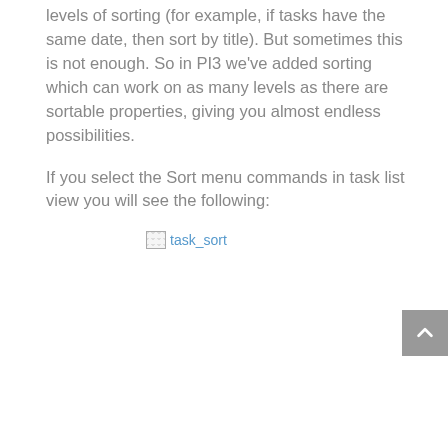levels of sorting (for example, if tasks have the same date, then sort by title). But sometimes this is not enough. So in PI3 we've added sorting which can work on as many levels as there are sortable properties, giving you almost endless possibilities.
If you select the Sort menu commands in task list view you will see the following:
[Figure (screenshot): Broken image placeholder labeled 'task_sort']